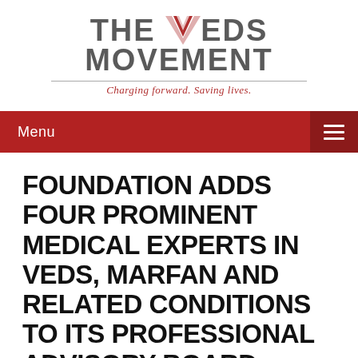[Figure (logo): The Veds Movement logo with a stylized V checkmark in pink/red, bold grey text reading THE VEDS MOVEMENT, a horizontal divider, and the italic red tagline 'Charging forward. Saving lives.']
Menu
FOUNDATION ADDS FOUR PROMINENT MEDICAL EXPERTS IN VEDS, MARFAN AND RELATED CONDITIONS TO ITS PROFESSIONAL ADVISORY BOARD